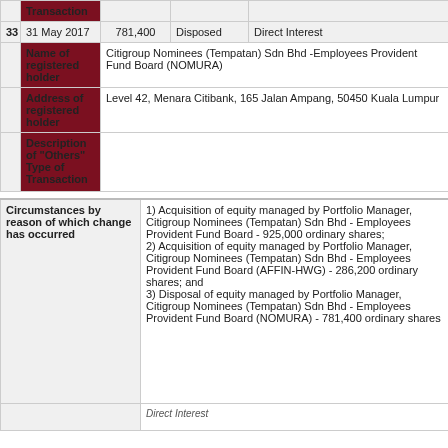|  | Date of Transaction | No. of Securities/Amount of Securities acquired/(disposed) | Type of Transaction | Nature of Interest |
| --- | --- | --- | --- | --- |
| 33 | 31 May 2017 | 781,400 | Disposed | Direct Interest |
|  | Name of registered holder | Citigroup Nominees (Tempatan) Sdn Bhd -Employees Provident Fund Board (NOMURA) |  |  |
|  | Address of registered holder | Level 42, Menara Citibank, 165 Jalan Ampang, 50450 Kuala Lumpur |  |  |
|  | Description of "Others" Type of Transaction |  |  |  |
| Circumstances by reason of which change has occurred | Details |
| --- | --- |
| Circumstances by reason of which change has occurred | 1) Acquisition of equity managed by Portfolio Manager, Citigroup Nominees (Tempatan) Sdn Bhd - Employees Provident Fund Board - 925,000 ordinary shares;
2) Acquisition of equity managed by Portfolio Manager, Citigroup Nominees (Tempatan) Sdn Bhd - Employees Provident Fund Board (AFFIN-HWG) - 286,200 ordinary shares; and
3) Disposal of equity managed by Portfolio Manager, Citigroup Nominees (Tempatan) Sdn Bhd - Employees Provident Fund Board (NOMURA) - 781,400 ordinary shares |